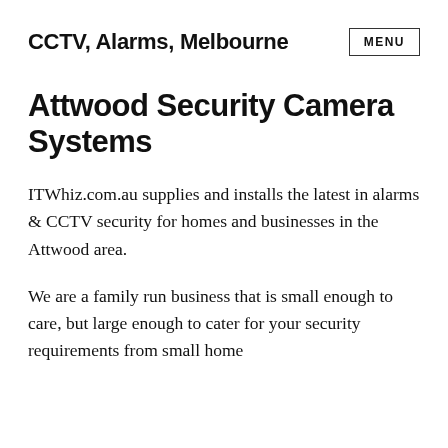CCTV, Alarms, Melbourne  MENU
Attwood Security Camera Systems
ITWhiz.com.au supplies and installs the latest in alarms & CCTV security for homes and businesses in the Attwood area.
We are a family run business that is small enough to care, but large enough to cater for your security requirements from small home